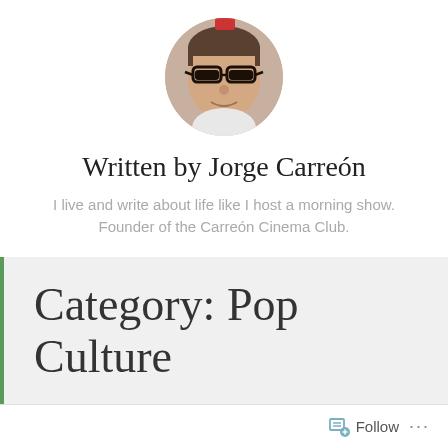[Figure (photo): Circular avatar photo of Jorge Carreón, a man wearing dark-rimmed glasses.]
Written by Jorge Carreón
I live and write about life like I host a morning show. Founder of the Carreón Cinema Club.
Category: Pop Culture
Follow ...